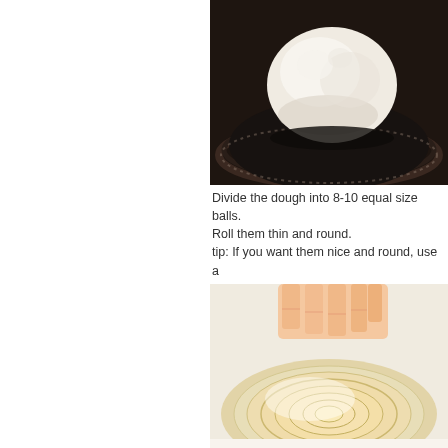[Figure (photo): A ball of dough in a dark mixing bowl, viewed from above.]
Divide the dough into 8-10 equal size balls. Roll them thin and round. tip: If you want them nice and round, use a
[Figure (photo): A hand pressing dough over a round plate or bowl to shape it into a circle.]
or you can have fun and make it in any sha

Cook on a hot frying pan or gridle about 30 Suggestions: Serve with taco meat and top